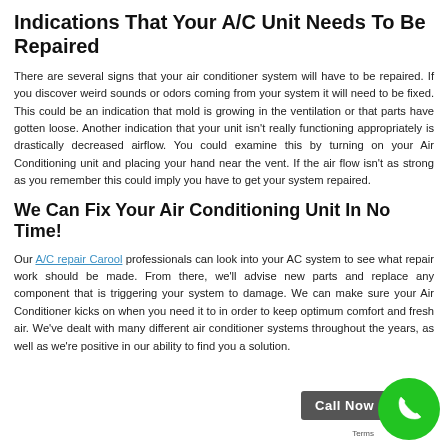Indications That Your A/C Unit Needs To Be Repaired
There are several signs that your air conditioner system will have to be repaired. If you discover weird sounds or odors coming from your system it will need to be fixed. This could be an indication that mold is growing in the ventilation or that parts have gotten loose. Another indication that your unit isn't really functioning appropriately is drastically decreased airflow. You could examine this by turning on your Air Conditioning unit and placing your hand near the vent. If the air flow isn't as strong as you remember this could imply you have to get your system repaired.
We Can Fix Your Air Conditioning Unit In No Time!
Our A/C repair Carool professionals can look into your AC system to see what repair work should be made. From there, we'll advise new parts and replace any component that is triggering your system to damage. We can make sure your Air Conditioner kicks on when you need it to in order to keep optimum comfort and fresh air. We've dealt with many different air conditioner systems throughout the years, as well as we're positive in our ability to find you a solution.